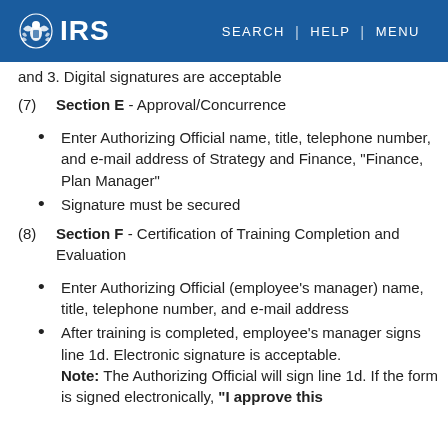IRS | SEARCH | HELP | MENU
and 3. Digital signatures are acceptable
(7) Section E - Approval/Concurrence
Enter Authorizing Official name, title, telephone number, and e-mail address of Strategy and Finance, "Finance, Plan Manager"
Signature must be secured
(8) Section F - Certification of Training Completion and Evaluation
Enter Authorizing Official (employee's manager) name, title, telephone number, and e-mail address
After training is completed, employee's manager signs line 1d. Electronic signature is acceptable. Note: The Authorizing Official will sign line 1d. If the form is signed electronically, "I approve this